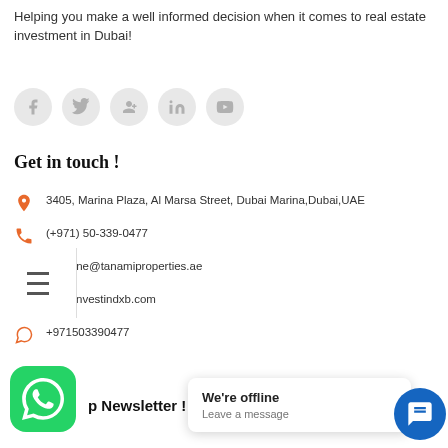Helping you make a well informed decision when it comes to real estate investment in Dubai!
[Figure (illustration): Row of 5 circular social media icons (Facebook, Twitter, Google+, LinkedIn, YouTube) in light grey]
Get in touch !
3405, Marina Plaza, Al Marsa Street, Dubai Marina, Dubai, UAE
(+971) 50-339-0477
Sofiene@tanamiproperties.ae
www.investindxb.com
+971503390477
[Figure (logo): WhatsApp green rounded square button icon]
p Newsletter !
[Figure (screenshot): Offline chat popup: 'We're offline / Leave a message']
[Figure (illustration): Blue circular chat/support button icon]